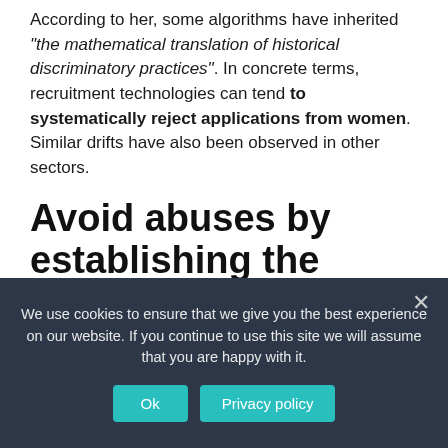According to her, some algorithms have inherited "the mathematical translation of historical discriminatory practices". In concrete terms, recruitment technologies can tend to systematically reject applications from women. Similar drifts have also been observed in other sectors.
Avoid abuses by establishing the principle of non-
We use cookies to ensure that we give you the best experience on our website. If you continue to use this site we will assume that you are happy with it.